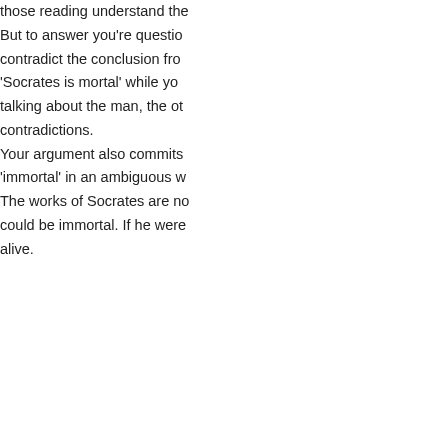those reading understand the... But to answer you're question... contradict the conclusion from... 'Socrates is mortal' while you... talking about the man, the oth... contradictions. Your argument also commits 'immortal' in an ambiguous w... The works of Socrates are no... could be immortal. If he were... alive.
OFFLINE
Moegreche
3,825 posts
Duke
[Figure (illustration): Forum user avatar showing a cartoon brain in a jar/container with a blue shield/badge icon, set against a blue-bordered square frame]
Posted on Saturday, January 22, 2011 6:0...
Part 3 - SYMBOLIZING ARGU...
We're getting into the meat a... concerned with the truth of th... care about is the form of the a... Once you can symbolize an a... attack it philosophically. Here's a quite famous argume...
1. If I know that I have hand...